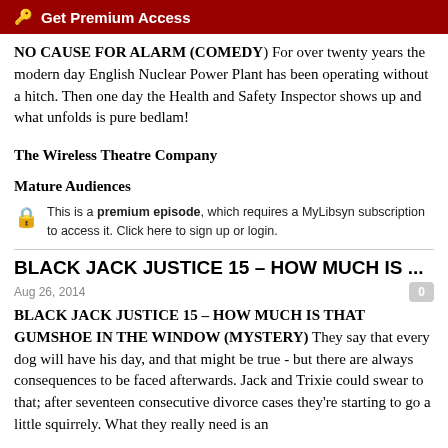🔑 Get Premium Access
NO CAUSE FOR ALARM (COMEDY) For over twenty years the modern day English Nuclear Power Plant has been operating without a hitch. Then one day the Health and Safety Inspector shows up and what unfolds is pure bedlam!
The Wireless Theatre Company
Mature Audiences
This is a premium episode, which requires a MyLibsyn subscription to access it. Click here to sign up or login.
BLACK JACK JUSTICE 15 – HOW MUCH IS ...
Aug 26, 2014
BLACK JACK JUSTICE 15 – HOW MUCH IS THAT GUMSHOE IN THE WINDOW (MYSTERY) They say that every dog will have his day, and that might be true - but there are always consequences to be faced afterwards. Jack and Trixie could swear to that; after seventeen consecutive divorce cases they're starting to go a little squirrely. What they really need is an